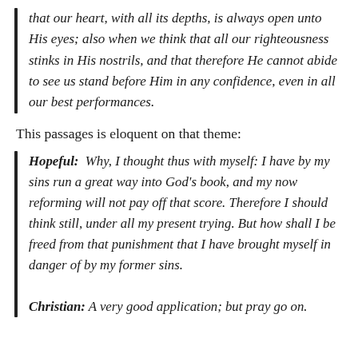that our heart, with all its depths, is always open unto His eyes; also when we think that all our righteousness stinks in His nostrils, and that therefore He cannot abide to see us stand before Him in any confidence, even in all our best performances.
This passages is eloquent on that theme:
Hopeful:  Why, I thought thus with myself: I have by my sins run a great way into God's book, and my now reforming will not pay off that score. Therefore I should think still, under all my present trying. But how shall I be freed from that punishment that I have brought myself in danger of by my former sins.
Christian: A very good application; but pray go on.